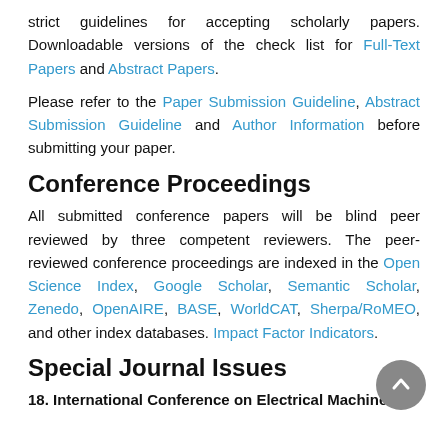strict guidelines for accepting scholarly papers. Downloadable versions of the check list for Full-Text Papers and Abstract Papers.
Please refer to the Paper Submission Guideline, Abstract Submission Guideline and Author Information before submitting your paper.
Conference Proceedings
All submitted conference papers will be blind peer reviewed by three competent reviewers. The peer-reviewed conference proceedings are indexed in the Open Science Index, Google Scholar, Semantic Scholar, Zenedo, OpenAIRE, BASE, WorldCAT, Sherpa/RoMEO, and other index databases. Impact Factor Indicators.
Special Journal Issues
18. International Conference on Electrical Machines